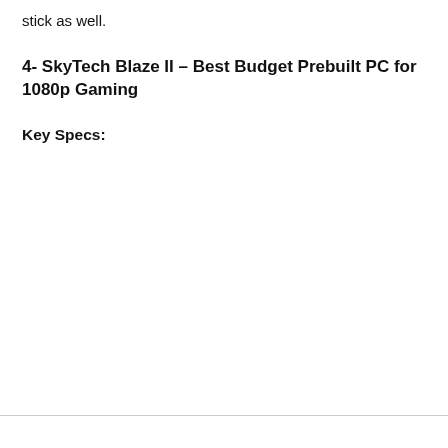stick as well.
4- SkyTech Blaze II – Best Budget Prebuilt PC for 1080p Gaming
Key Specs: